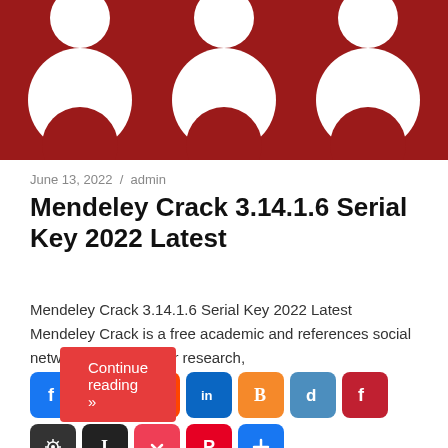[Figure (illustration): Dark red/crimson banner image with white circular shapes (keys or decorative circles) arranged in a row on a dark red background]
June 13, 2022 / admin
Mendeley Crack 3.14.1.6 Serial Key 2022 Latest
Mendeley Crack 3.14.1.6 Serial Key 2022 Latest Mendeley Crack is a free academic and references social network. Manage your research,
[Figure (infographic): Row of social sharing icon buttons: Facebook, Tumblr, Reddit, LinkedIn, Blogger, Digg, Flipboard, Virus Total(?), Instapaper, Pocket, Pinterest, More(+)]
Continue reading »